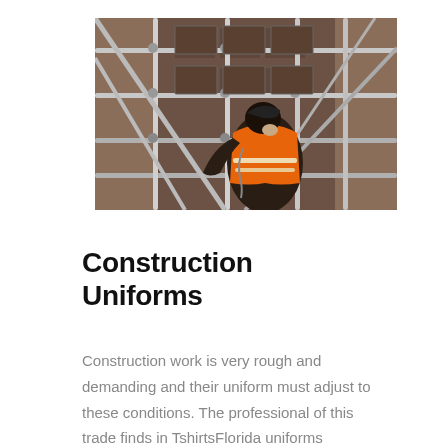[Figure (photo): A construction worker wearing an orange high-visibility safety vest and dark jacket, bending forward while working on metal scaffolding. The background shows scaffolding pipes and a brick building facade.]
Construction Uniforms
Construction work is very rough and demanding and their uniform must adjust to these conditions. The professional of this trade finds in TshirtsFlorida uniforms